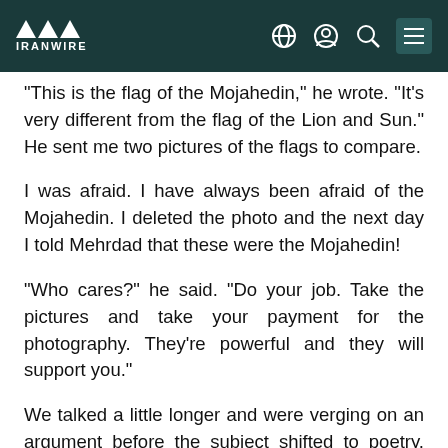IRANWIRE
"This is the flag of the Mojahedin," he wrote. "It's very different from the flag of the Lion and Sun." He sent me two pictures of the flags to compare.
I was afraid. I have always been afraid of the Mojahedin. I deleted the photo and the next day I told Mehrdad that these were the Mojahedin!
"Who cares?" he said. “Do your job. Take the pictures and take your payment for the photography. They’re powerful and they will support you."
We talked a little longer and were verging on an argument before the subject shifted to poetry, and the matter was forgotten.
Once, I went to Mehrdad's house for lunch. His wife and daughter were also present. We ate together and